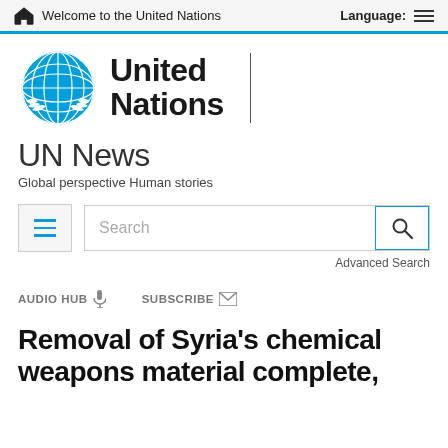Welcome to the United Nations    Language:
[Figure (logo): United Nations logo: blue globe emblem with olive branches, next to bold text 'United Nations' with vertical divider]
UN News
Global perspective Human stories
[Figure (screenshot): Search interface with hamburger menu button, search text field with placeholder 'Search', and search icon button. Below: 'Advanced Search' link.]
AUDIO HUB  SUBSCRIBE
Removal of Syria's chemical weapons material complete, says OPCW, UN